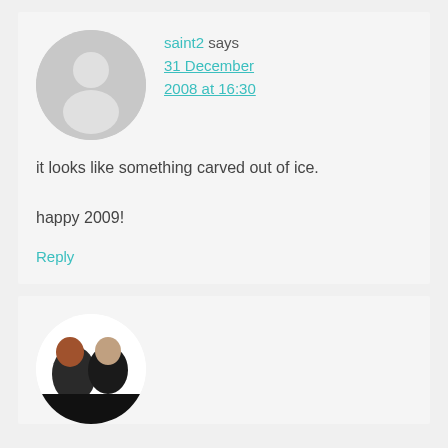saint2 says
31 December 2008 at 16:30
it looks like something carved out of ice.
happy 2009!
Reply
[Figure (photo): Avatar photo of a couple (man and woman) at the bottom of the page, partially visible]